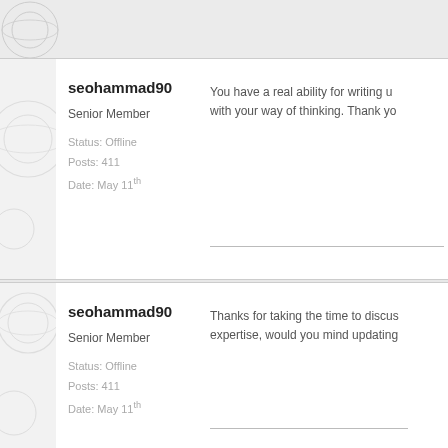seohammad90
Senior Member
Status: Offline
Posts: 411
Date: May 11th
You have a real ability for writing u... with your way of thinking. Thank yo...
seohammad90
Senior Member
Status: Offline
Posts: 411
Date: May 11th
Thanks for taking the time to discu... expertise, would you mind updating...